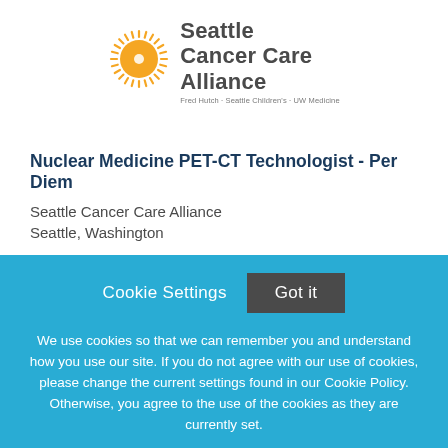[Figure (logo): Seattle Cancer Care Alliance logo with yellow sunburst icon and text: Seattle Cancer Care Alliance, Fred Hutch · Seattle Children's · UW Medicine]
Nuclear Medicine PET-CT Technologist - Per Diem
Seattle Cancer Care Alliance
Seattle, Washington
Cookie Settings
Got it
We use cookies so that we can remember you and understand how you use our site. If you do not agree with our use of cookies, please change the current settings found in our Cookie Policy. Otherwise, you agree to the use of the cookies as they are currently set.